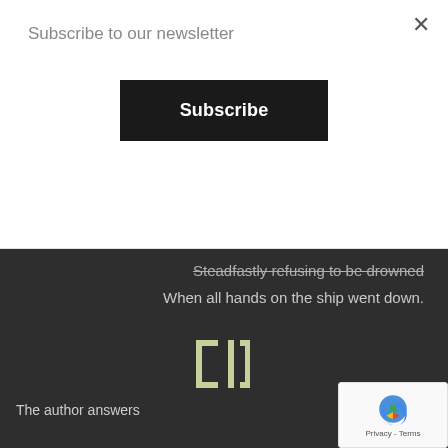Subscribe to our newsletter
Subscribe
Steadfastly refusing to be drowned
When all hands on the ship went down.
[Figure (logo): Wild Culture logo mark — stylized bracket/L1 letterform in light olive green on dark background]
The author answers
THE WILD CULTURE SCRIBBLER'S QUESTIONNAIRE
What is your first memory and what does it tell you about you that time and your life at this time?
I have a particularly vivid early memory of trying to walk along a row...